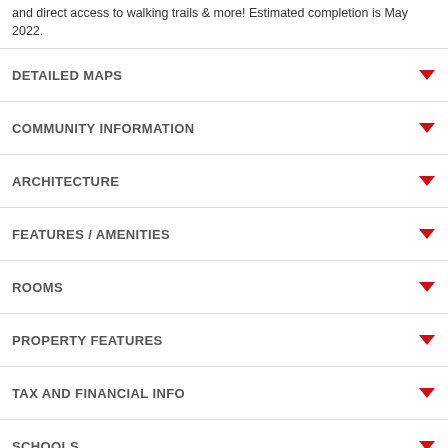and direct access to walking trails & more! Estimated completion is May 2022.
DETAILED MAPS
COMMUNITY INFORMATION
ARCHITECTURE
FEATURES / AMENITIES
ROOMS
PROPERTY FEATURES
TAX AND FINANCIAL INFO
SCHOOLS